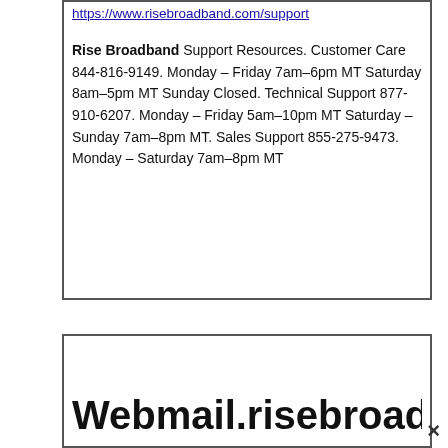https://www.risebroadband.com/support
Rise Broadband Support Resources. Customer Care 844-816-9149. Monday – Friday 7am–6pm MT Saturday 8am–5pm MT Sunday Closed. Technical Support 877-910-6207. Monday – Friday 5am–10pm MT Saturday – Sunday 7am–8pm MT. Sales Support 855-275-9473. Monday – Saturday 7am–8pm MT
Webmail.risebroadband.net